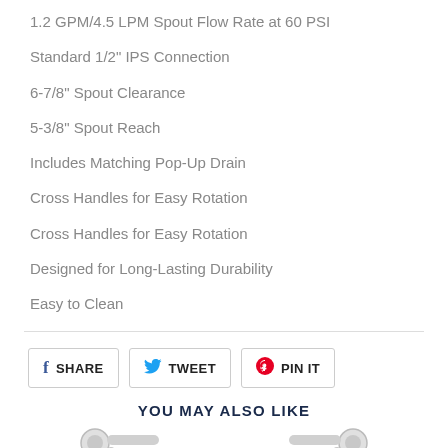1.2 GPM/4.5 LPM Spout Flow Rate at 60 PSI
Standard 1/2" IPS Connection
6-7/8" Spout Clearance
5-3/8" Spout Reach
Includes Matching Pop-Up Drain
Cross Handles for Easy Rotation
Cross Handles for Easy Rotation
Designed for Long-Lasting Durability
Easy to Clean
YOU MAY ALSO LIKE
[Figure (photo): Two faucet product images shown at bottom of page]